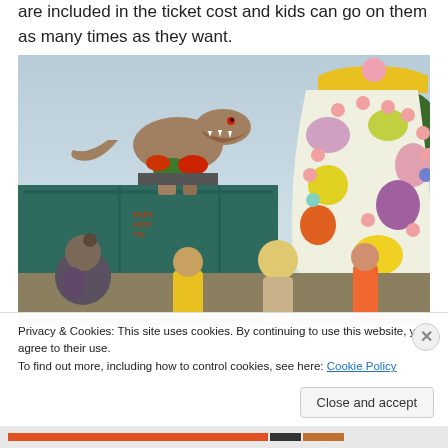are included in the ticket cost and kids can go on them as many times as they want.
[Figure (photo): Outdoor fairground scene showing a large animatronic T-Rex dinosaur on a platform above a teal shipping container, next to a large colorful amusement ride shaped like a decorated egg or teapot with pink and yellow colors and dotted lights. People including children and adults are visible in the foreground.]
Privacy & Cookies: This site uses cookies. By continuing to use this website, you agree to their use.
To find out more, including how to control cookies, see here: Cookie Policy
Close and accept